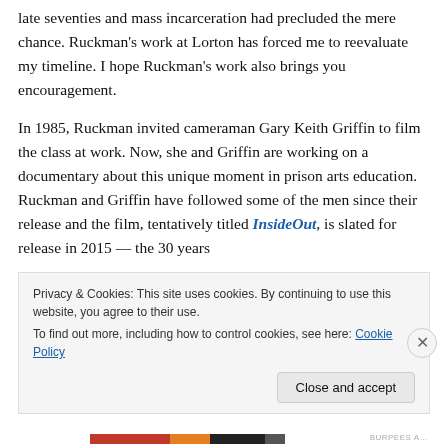late seventies and mass incarceration had precluded the mere chance. Ruckman's work at Lorton has forced me to reevaluate my timeline. I hope Ruckman's work also brings you encouragement.
In 1985, Ruckman invited cameraman Gary Keith Griffin to film the class at work. Now, she and Griffin are working on a documentary about this unique moment in prison arts education. Ruckman and Griffin have followed some of the men since their release and the film, tentatively titled InsideOut, is slated for release in 2015 — the 30 years
Privacy & Cookies: This site uses cookies. By continuing to use this website, you agree to their use. To find out more, including how to control cookies, see here: Cookie Policy